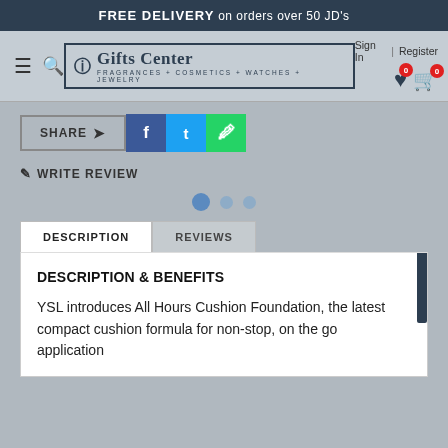FREE DELIVERY on orders over 50 JD's
[Figure (logo): Gifts Center logo with tagline FRAGRANCES + COSMETICS + WATCHES + JEWELRY]
Sign In | Register
SHARE
WRITE REVIEW
DESCRIPTION
REVIEWS
DESCRIPTION & BENEFITS
YSL introduces All Hours Cushion Foundation, the latest compact cushion formula for non-stop, on the go application